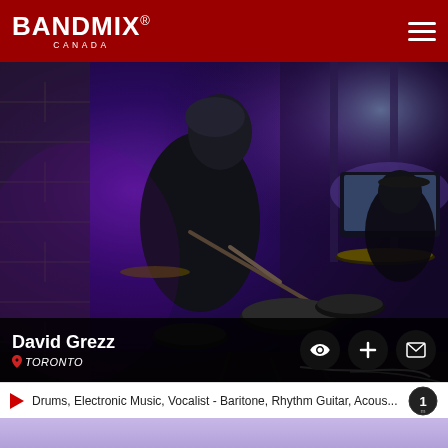BANDMIX® CANADA
[Figure (photo): A drummer in a black jacket playing an electronic drum kit outdoors at night with purple/blue lighting. Another person is visible in the background at a table with a laptop.]
David Grezz
TORONTO
Drums, Electronic Music, Vocalist - Baritone, Rhythm Guitar, Acous...